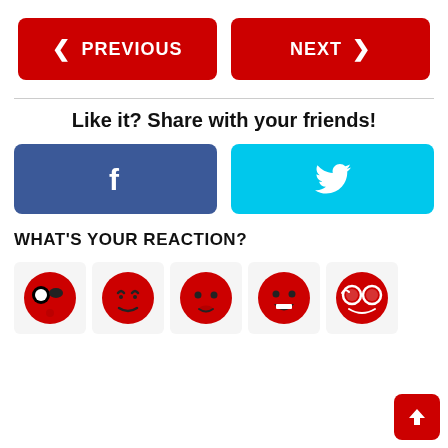[Figure (infographic): Two red navigation buttons: PREVIOUS (with left arrow) and NEXT (with right arrow)]
Like it? Share with your friends!
[Figure (infographic): Facebook share button (blue, with f logo) and Twitter share button (cyan, with bird logo)]
WHAT'S YOUR REACTION?
[Figure (infographic): Five red emoji reaction faces: surprised/pirate, sleeping/sad, neutral/shy, happy/laughing, nerdy with glasses]